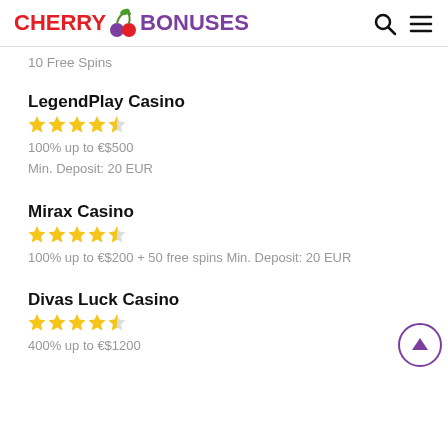[Figure (logo): CherryBonuses logo with cherry icon, red CHERRY and purple BONUSES text, plus search and hamburger menu icons]
10 Free Spins
LegendPlay Casino
[Figure (other): 4 full stars and 1 half star rating for LegendPlay Casino]
100% up to €$500
Min. Deposit: 20 EUR
Mirax Casino
[Figure (other): 4 full stars and 1 half star rating for Mirax Casino]
100% up to €$200 + 50 free spins Min. Deposit: 20 EUR
Divas Luck Casino
[Figure (other): 4 full stars and 1 half star rating for Divas Luck Casino]
400% up to €$1200